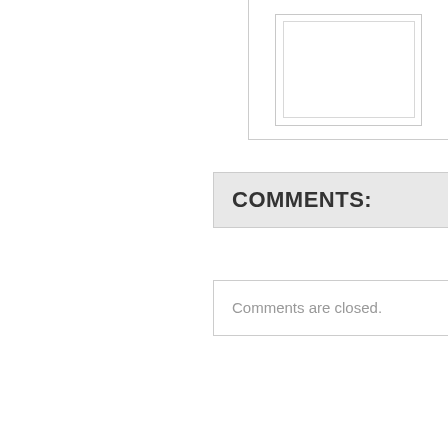[Figure (other): Partial view of a bordered image/widget box in the upper right, showing nested border rectangles]
COMMENTS:
Comments are closed.